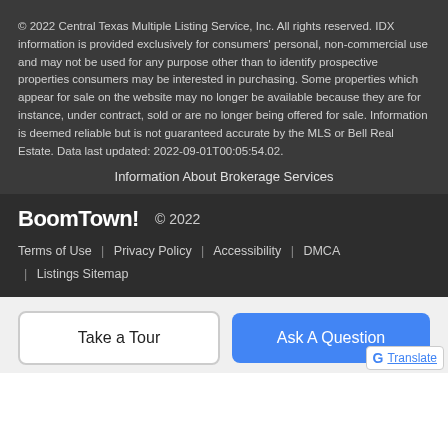© 2022 Central Texas Multiple Listing Service, Inc. All rights reserved. IDX information is provided exclusively for consumers' personal, non-commercial use and may not be used for any purpose other than to identify prospective properties consumers may be interested in purchasing. Some properties which appear for sale on the website may no longer be available because they are for instance, under contract, sold or are no longer being offered for sale. Information is deemed reliable but is not guaranteed accurate by the MLS or Bell Real Estate. Data last updated: 2022-09-01T00:05:54.02.
Information About Brokerage Services
BoomTown! © 2022
Terms of Use | Privacy Policy | Accessibility | DMCA | Listings Sitemap
Take a Tour
Ask A Question
Translate